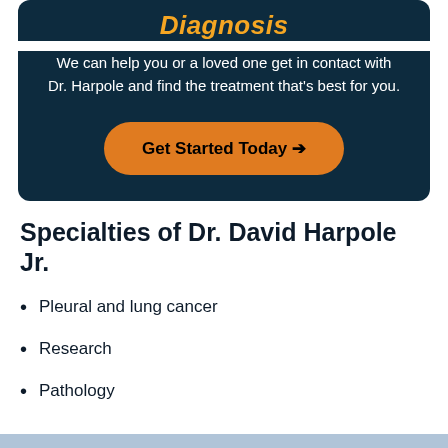Diagnosis
We can help you or a loved one get in contact with Dr. Harpole and find the treatment that's best for you.
[Figure (other): Orange call-to-action button reading 'Get Started Today →']
Specialties of Dr. David Harpole Jr.
Pleural and lung cancer
Research
Pathology